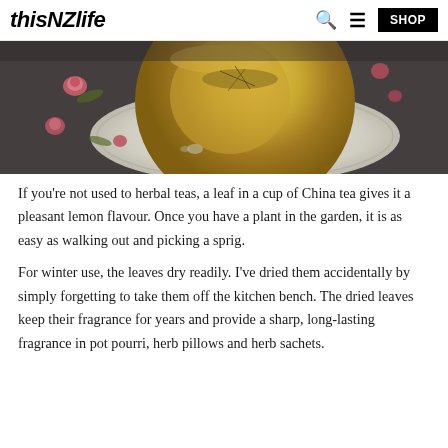thisNZlife
[Figure (photo): Close-up photo of a glass cup of golden herbal tea on a white plate with scattered rose buds and leaves on a dark surface]
If you're not used to herbal teas, a leaf in a cup of China tea gives it a pleasant lemon flavour. Once you have a plant in the garden, it is as easy as walking out and picking a sprig.
For winter use, the leaves dry readily. I've dried them accidentally by simply forgetting to take them off the kitchen bench. The dried leaves keep their fragrance for years and provide a sharp, long-lasting fragrance in pot pourri, herb pillows and herb sachets.